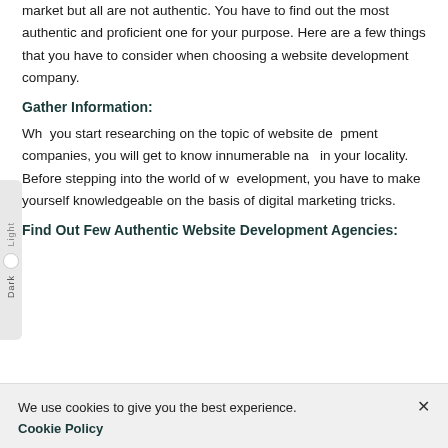market but all are not authentic. You have to find out the most authentic and proficient one for your purpose. Here are a few things that you have to consider when choosing a website development company.
Gather Information:
When you start researching on the topic of website development companies, you will get to know innumerable names in your locality. Before stepping into the world of web development, you have to make yourself knowledgeable on the basis of digital marketing tricks.
Find Out Few Authentic Website Development Agencies:
We use cookies to give you the best experience.
Cookie Policy